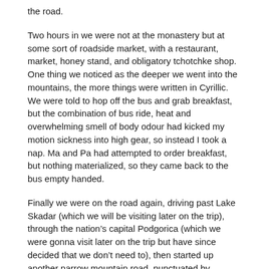the road.
Two hours in we were not at the monastery but at some sort of roadside market, with a restaurant, market, honey stand, and obligatory tchotchke shop. One thing we noticed as the deeper we went into the mountains, the more things were written in Cyrillic. We were told to hop off the bus and grab breakfast, but the combination of bus ride, heat and overwhelming smell of body odour had kicked my motion sickness into high gear, so instead I took a nap. Ma and Pa had attempted to order breakfast, but nothing materialized, so they came back to the bus empty handed.
Finally we were on the road again, driving past Lake Skadar (which we will be visiting later on the trip), through the nation’s capital Podgorica (which we were gonna visit later on the trip but have since decided that we don’t need to), then started up another narrow mountain road, punctuated by switchback after switchback. Eventually we ended up at a parking lot with a few other big tour buses, and thought “well this is it, time to hike up!” Instead, our tour director said to us “now we taxi”. I laughed out loud to Ma and Pa and exclaimed “what the fuck is going on??” We climbed off the big bus and into some sort of soviet era van with dubious seating, curtains, and a fan screwed to the ceiling. Clinging to the seat in front of me for